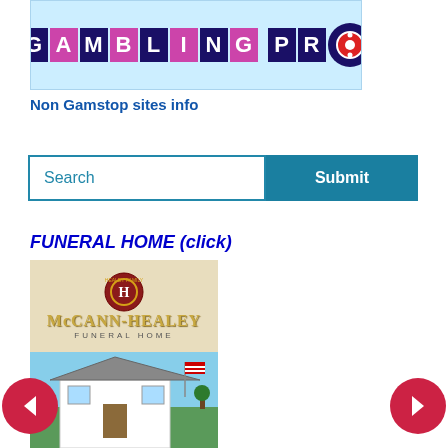[Figure (logo): GamblingPro logo on light blue background with colorful letter tiles and poker chip]
Non Gamstop sites info
[Figure (screenshot): Search input box with placeholder 'Search' and a teal 'Submit' button]
FUNERAL HOME (click)
[Figure (photo): McCann-Healey Funeral Home image: top half shows sign with Healey Family logo and gold McCann-Healey text on cream background; bottom half shows photo of white house with American flag and trees]
[Figure (other): Left navigation arrow (red circle with white left arrow)]
[Figure (other): Right navigation arrow (red circle with white right arrow)]